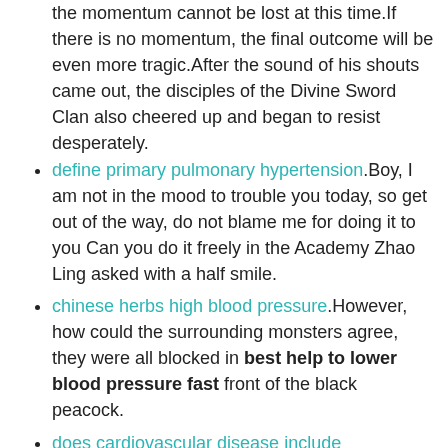the momentum cannot be lost at this time.If there is no momentum, the final outcome will be even more tragic.After the sound of his shouts came out, the disciples of the Divine Sword Clan also cheered up and began to resist desperately.
define primary pulmonary hypertension.Boy, I am not in the mood to trouble you today, so get out of the way, do not blame me for doing it to you Can you do it freely in the Academy Zhao Ling asked with a half smile.
chinese herbs high blood pressure.However, how could the surrounding monsters agree, they were all blocked in best help to lower blood pressure fast front of the black peacock.
does cardiovascular disease include hypertension.He took a deep breath, and then the remaining dozen or so herbs began to be processed at the same time.
not mean that Zhao Ling was afraid of forestry.